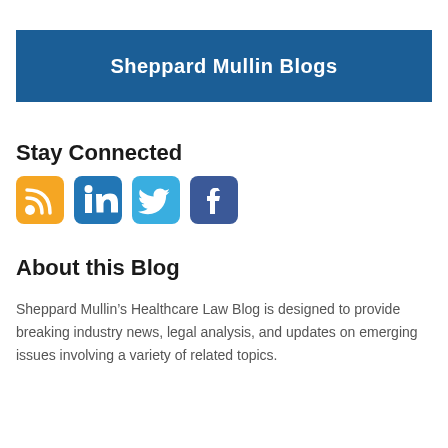Sheppard Mullin Blogs
Stay Connected
[Figure (illustration): Four social media icons: RSS feed (orange), LinkedIn (blue), Twitter (light blue), Facebook (dark blue)]
About this Blog
Sheppard Mullin’s Healthcare Law Blog is designed to provide breaking industry news, legal analysis, and updates on emerging issues involving a variety of related topics.